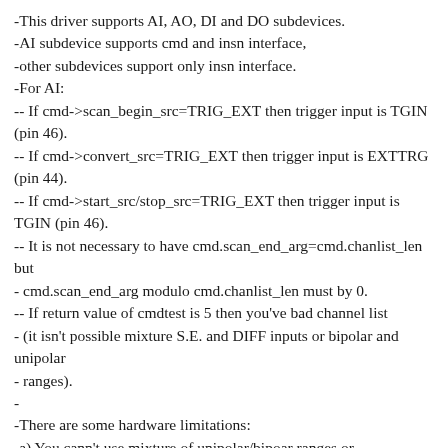-This driver supports AI, AO, DI and DO subdevices.
-AI subdevice supports cmd and insn interface,
-other subdevices support only insn interface.
-For AI:
-- If cmd->scan_begin_src=TRIG_EXT then trigger input is TGIN (pin 46).
-- If cmd->convert_src=TRIG_EXT then trigger input is EXTTRG (pin 44).
-- If cmd->start_src/stop_src=TRIG_EXT then trigger input is TGIN (pin 46).
-- It is not necessary to have cmd.scan_end_arg=cmd.chanlist_len but
- cmd.scan_end_arg modulo cmd.chanlist_len must by 0.
-- If return value of cmdtest is 5 then you've bad channel list
- (it isn't possible mixture S.E. and DIFF inputs or bipolar and unipolar
- ranges).
-
-There are some hardware limitations:
-a) You cann't use mixture of unipolar/bipoar ranges or differencial/single
- ended inputs.
-b) DMA transfers must have the length aligned to two samples (32 bit),
- so there is some problems if cmd->chanlist_len is odd. This